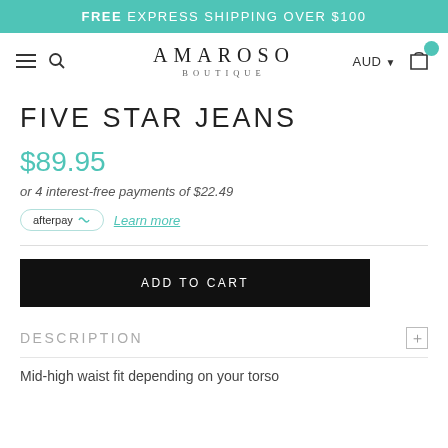FREE EXPRESS SHIPPING OVER $100
[Figure (logo): Amaroso Boutique logo with hamburger menu, search icon, AUD currency selector, and shopping cart]
FIVE STAR JEANS
$89.95
or 4 interest-free payments of $22.49
afterpay  Learn more
ADD TO CART
DESCRIPTION
Mid-high waist fit depending on your torso